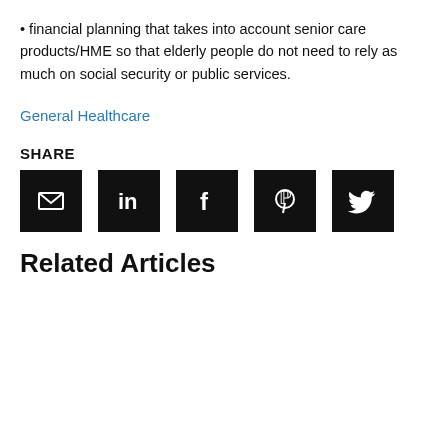•  financial planning that takes into account senior care products/HME so that elderly people do not need to rely as much on social security or public services.
General Healthcare
SHARE
[Figure (infographic): Five black square social share buttons: email, LinkedIn, Facebook, Pinterest, Twitter]
Related Articles